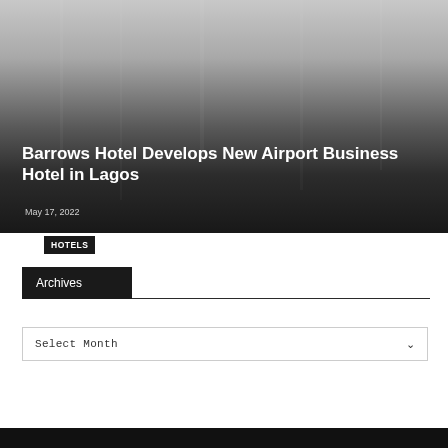[Figure (photo): Hero image with dark gradient overlay showing a blurred architectural/hotel background fading from light gray at top to dark at bottom]
HOTELS
Barrows Hotel Develops New Airport Business Hotel in Lagos
May 17, 2022
Archives
Select Month